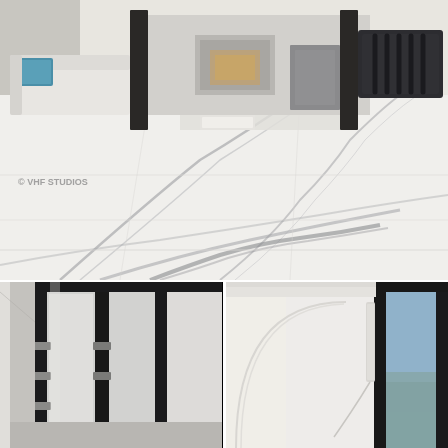[Figure (photo): Interior architectural photo showing a modern living space with large white marble floor tiles featuring grey veining, a white sofa with a blue decorative pillow visible on the left, a modern fireplace in the background, and a dark grey wall-mounted audio/speaker system on the right. Watermark text '© VHF STUDIOS' visible in lower left area. The marble surface is shown in extreme close-up in the foreground with dramatic veining patterns.]
[Figure (photo): Close-up architectural detail of black-framed glass pivot door or window system, showing multiple vertical black metal frames with glass panels and metal hardware/hinges, interior white walls visible through the frames.]
[Figure (photo): Architectural photo showing a modern interior with a large white curved wall or door element on the left, and a black-framed floor-to-ceiling window on the right with a blue sky and trees visible outside.]